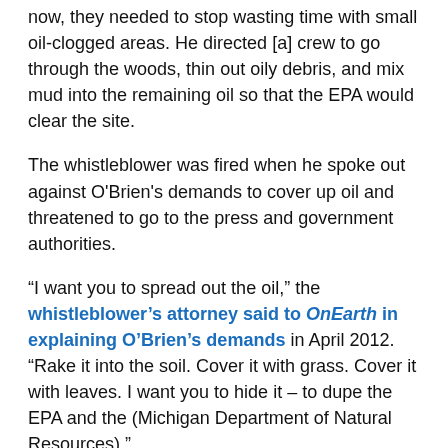now, they needed to stop wasting time with small oil-clogged areas. He directed [a] crew to go through the woods, thin out oily debris, and mix mud into the remaining oil so that the EPA would clear the site.
The whistleblower was fired when he spoke out against O'Brien's demands to cover up oil and threatened to go to the press and government authorities.
“I want you to spread out the oil,” the whistleblower’s attorney said to OnEarth in explaining O’Brien’s demands in April 2012. “Rake it into the soil. Cover it with grass. Cover it with leaves. I want you to hide it – to dupe the EPA and the (Michigan Department of Natural Resources).”
BP Deepwater Horizon Dispersant